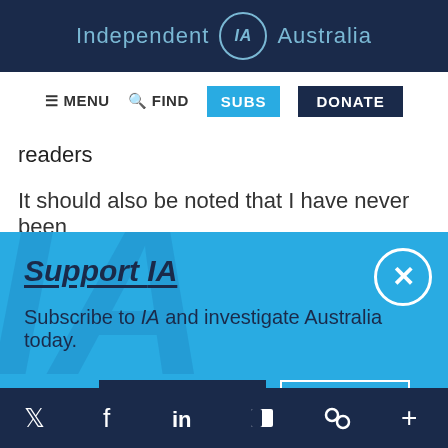Independent IA Australia
[Figure (screenshot): Navigation bar with MENU, FIND, SUBS, DONATE buttons]
readers
It should also be noted that I have never been
[Figure (screenshot): Support IA modal overlay with Subscribe and Donate buttons on blue background. Text: Subscribe to IA and investigate Australia today.]
Social media icons: Twitter, Facebook, LinkedIn, Flipboard, link, plus